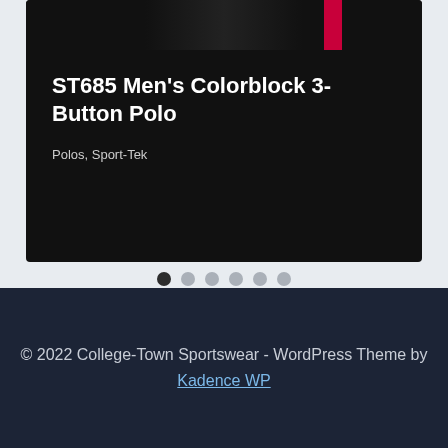[Figure (photo): Top portion of a men's colorblock polo shirt with black and red colors, partially visible at the top of the card]
ST685 Men’s Colorblock 3-Button Polo
Polos, Sport-Tek
[Figure (infographic): Carousel navigation dots - 6 dots with the first one filled dark and the rest gray]
© 2022 College-Town Sportswear - WordPress Theme by Kadence WP